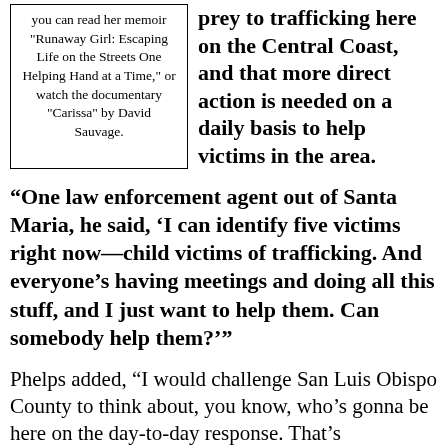you can read her memoir "Runaway Girl: Escaping Life on the Streets One Helping Hand at a Time," or watch the documentary "Carissa" by David Sauvage.
prey to trafficking here on the Central Coast, and that more direct action is needed on a daily basis to help victims in the area.
“One law enforcement agent out of Santa Maria, he said, ‘I can identify five victims right now—child victims of trafficking. And everyone’s having meetings and doing all this stuff, and I just want to help them. Can somebody help them?’”
Phelps added, “I would challenge San Luis Obispo County to think about, you know, who’s gonna be here on the day-to-day response. That’s important.”